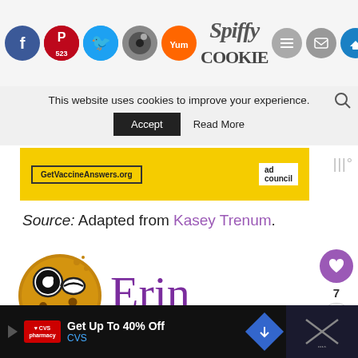[Figure (screenshot): Website header with social media share icons (Facebook, Pinterest with 523, Twitter, Yummly, Print, Email, Crown) and Spifffy Cookie logo]
This website uses cookies to improve your experience.
Accept   Read More
[Figure (screenshot): Yellow GetVaccineAnswers.org advertisement banner with Ad Council logo]
Source: Adapted from Kasey Trenum.
[Figure (illustration): Cookie character mascot with glasses and Erin handwritten signature]
[Figure (screenshot): What's Next section with Pumpkin Pie with Brown... post preview and like (7) and share buttons]
[Figure (screenshot): CVS pharmacy advertisement at bottom: Get Up To 40% Off CVS]